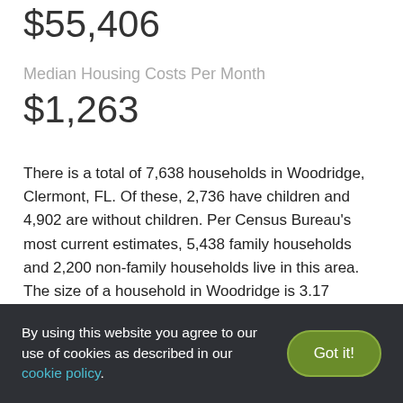$55,406
Median Housing Costs Per Month
$1,263
There is a total of 7,638 households in Woodridge, Clermont, FL. Of these, 2,736 have children and 4,902 are without children. Per Census Bureau’s most current estimates, 5,438 family households and 2,200 non-family households live in this area. The size of a household in Woodridge is 3.17 people, on average. The median household annual income in Woodridge equals $55,406, and the monthly housing costs equal $1,263.
By using this website you agree to our use of cookies as described in our cookie policy.